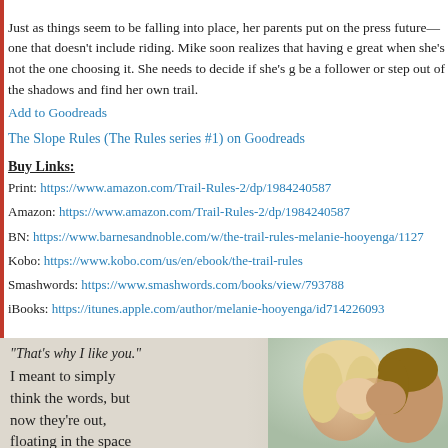Just as things seem to be falling into place, her parents put on the press future—one that doesn't include riding. Mike soon realizes that having e great when she's not the one choosing it. She needs to decide if she's g be a follower or step out of the shadows and find her own trail.
Add to Goodreads
The Slope Rules (The Rules series #1) on Goodreads
Buy Links:
Print: https://www.amazon.com/Trail-Rules-2/dp/1984240587
Amazon: https://www.amazon.com/Trail-Rules-2/dp/1984240587
BN: https://www.barnesandnoble.com/w/the-trail-rules-melanie-hooyenga/1127...
Kobo: https://www.kobo.com/us/en/ebook/the-trail-rules
Smashwords: https://www.smashwords.com/books/view/793788
iBooks: https://itunes.apple.com/author/melanie-hooyenga/id714226093...
[Figure (photo): Quote image overlay on a photo of a couple with foreheads touching. Quote text reads: "That's why I like you." I meant to simply think the words, but now they're out, floating in the space]